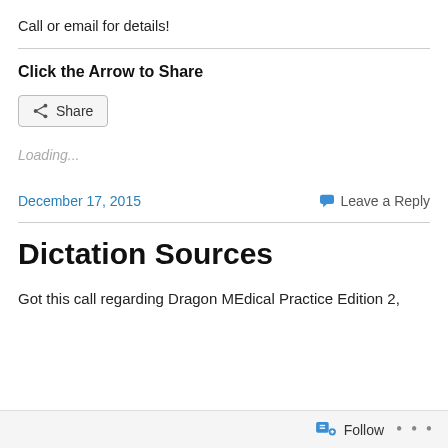Call or email for details!
Click the Arrow to Share
[Figure (screenshot): Share button with arrow/network icon and 'Share' label]
Loading...
December 17, 2015    Leave a Reply
Dictation Sources
Got this call regarding Dragon MEdical Practice Edition 2,
Follow ...